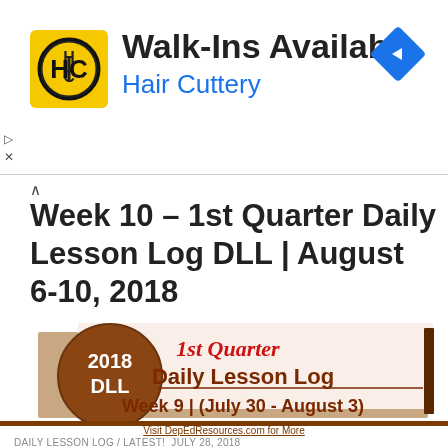[Figure (screenshot): Hair Cuttery advertisement banner with yellow HC logo and blue navigation arrow icon. Text reads 'Walk-Ins Available' and 'Hair Cuttery']
Week 10 – 1st Quarter Daily Lesson Log DLL | August 6-10, 2018
[Figure (infographic): 2018 DLL 1st Quarter Daily Lesson Log thumbnail image with brown circle logo showing '2018 DLL' and text: '1st Quarter Daily Lesson Log Week 9 | (July 30 - August 3)']
DAILY LESSON LOG / LATEST! JULY 28, 2018